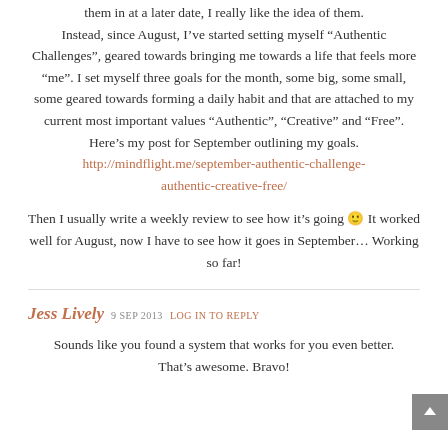them in at a later date, I really like the idea of them. Instead, since August, I’ve started setting myself “Authentic Challenges”, geared towards bringing me towards a life that feels more “me”. I set myself three goals for the month, some big, some small, some geared towards forming a daily habit and that are attached to my current most important values “Authentic”, “Creative” and “Free”. Here’s my post for September outlining my goals. http://mindflight.me/september-authentic-challenge-authentic-creative-free/
Then I usually write a weekly review to see how it’s going 🙂 It worked well for August, now I have to see how it goes in September… Working so far!
Jess Lively 9 SEP 2013 LOG IN TO REPLY
Sounds like you found a system that works for you even better. That’s awesome. Bravo!